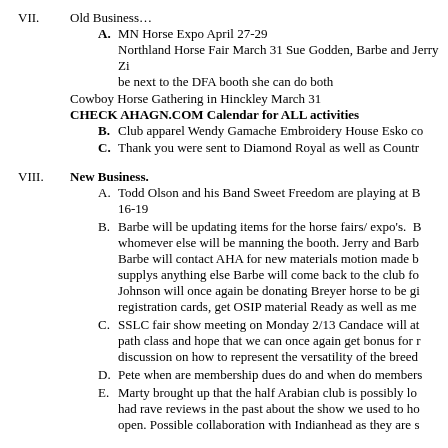VII. Old Business… A. MN Horse Expo April 27-29 Northland Horse Fair March 31 Sue Godden, Barbe and Jerry Zi... be next to the DFA booth she can do both Cowboy Horse Gathering in Hinckley March 31 CHECK AHAGN.COM Calendar for ALL activities B. Club apparel Wendy Gamache Embroidery House Esko co... C. Thank you were sent to Diamond Royal as well as Countr...
VIII. New Business. A. Todd Olson and his Band Sweet Freedom are playing at B... 16-19 B. Barbe will be updating items for the horse fairs/ expo's. B... whomever else will be manning the booth. Jerry and Barb... Barbe will contact AHA for new materials motion made b... supplys anything else Barbe will come back to the club fo... Johnson will once again be donating Breyer horse to be gi... registration cards, get OSIP material Ready as well as me... C. SSLC fair show meeting on Monday 2/13 Candace will at... path class and hope that we can once again get bonus for r... discussion on how to represent the versatility of the breed... D. Pete when are membership dues do and when do members... E. Marty brought up that the half Arabian club is possibly lo... had rave reviews in the past about the show we used to ho... open. Possible collaboration with Indianhead as they are s...